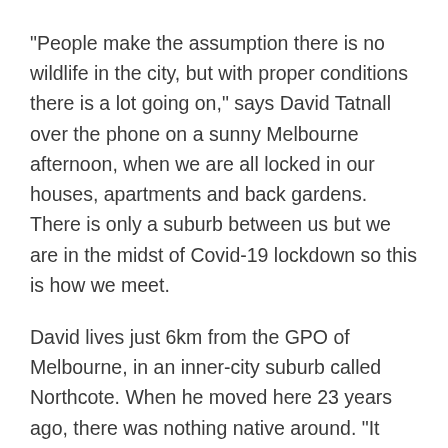“People make the assumption there is no wildlife in the city, but with proper conditions there is a lot going on,” says David Tatnall over the phone on a sunny Melbourne afternoon, when we are all locked in our houses, apartments and back gardens. There is only a suburb between us but we are in the midst of Covid-19 lockdown so this is how we meet.
David lives just 6km from the GPO of Melbourne, in an inner-city suburb called Northcote. When he moved here 23 years ago, there was nothing native around. “It was a ruin,” he tells me. So he and his partner set to work planting native and indigenous plants in their garden, and on the nature strip.
“Now she’d...